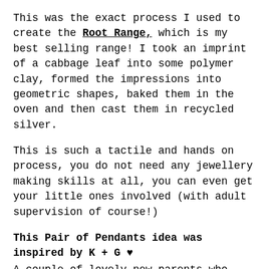This was the exact process I used to create the Root Range, which is my best selling range! I took an imprint of a cabbage leaf into some polymer clay, formed the impressions into geometric shapes, baked them in the oven and then cast them in recycled silver.
This is such a tactile and hands on process, you do not need any jewellery making skills at all, you can even get your little ones involved (with adult supervision of course!)
This Pair of Pendants idea was inspired by K + G ♥
A couple of lovely new parents who wanted to create unique Christmas gifts for their baby's grandparents... Using the T.I.Y KIT they took an imprint of their new born sons finger print in polymer clay and I then cast extra pendants for gifts. How cute!
If you have any questions, just drop me an email, I